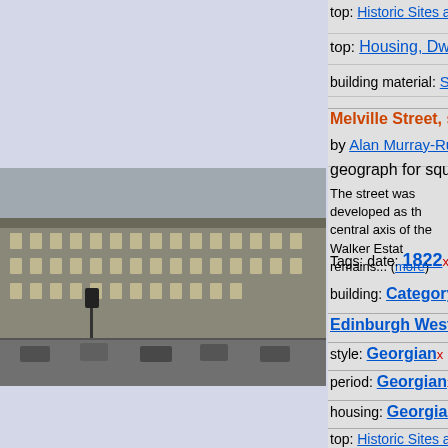top: Historic Sites and Artefacts x
top: Housing, Dwellings x
building material: Stucco x
Melville Street, south si... by Alan Murray-Rust geograph for square NT2...
The street was developed as the central axis of the Walker Estate remains... (more)
Tags: date: 1822 x   listed
building: Category A x
Edinburgh West End x
style: Georgian x
period: Georgian x
housing: Georgian Terrace
top: Historic Sites and Artefacts
top: Housing, Dwellings x
top: Suburb, Urban Fringe x
[Figure (photo): Photo of Melville Street south side showing Georgian terrace buildings]
Northumberland Street, Edinburgh New Town b...